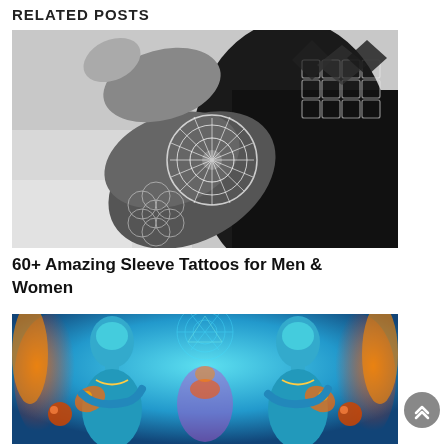RELATED POSTS
[Figure (photo): Black and white photograph of a person's arm and leg showing intricate geometric and mandala sleeve tattoos with dotwork patterns including flower of life and honeycomb designs]
60+ Amazing Sleeve Tattoos for Men & Women
[Figure (photo): Colorful tattoo artwork showing two symmetrical figures of women with cosmic, psychedelic body tattoos featuring blue skin, orange flames, galaxies, and geometric sacred geometry patterns on a blue background]